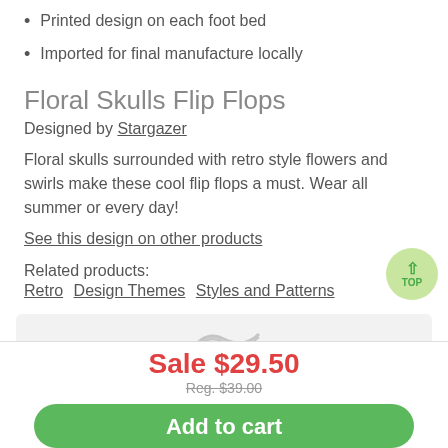Printed design on each foot bed
Imported for final manufacture locally
Floral Skulls Flip Flops
Designed by Stargazer
Floral skulls surrounded with retro style flowers and swirls make these cool flip flops a must. Wear all summer or every day!
See this design on other products
Related products: Retro Design Themes Styles and Patterns
Sale $29.50
Reg. $39.00
Add to cart